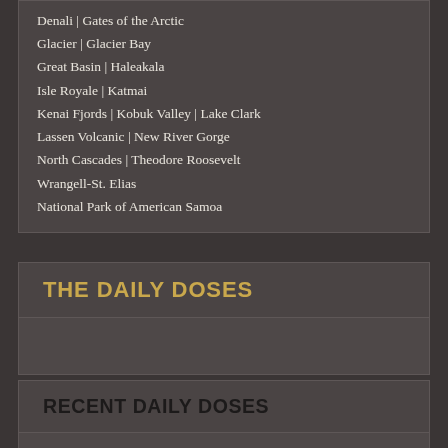Denali | Gates of the Arctic
Glacier | Glacier Bay
Great Basin | Haleakala
Isle Royale | Katmai
Kenai Fjords | Kobuk Valley | Lake Clark
Lassen Volcanic | New River Gorge
North Cascades | Theodore Roosevelt
Wrangell-St. Elias
National Park of American Samoa
THE DAILY DOSES
RECENT DAILY DOSES
August 6, 2022 -